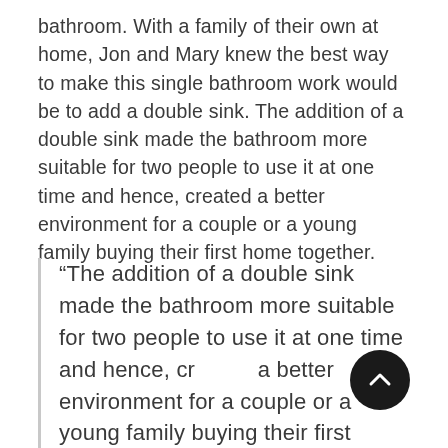bathroom. With a family of their own at home, Jon and Mary knew the best way to make this single bathroom work would be to add a double sink. The addition of a double sink made the bathroom more suitable for two people to use it at one time and hence, created a better environment for a couple or a young family buying their first home together.
“The addition of a double sink made the bathroom more suitable for two people to use it at one time and hence, cr… a better environment for a couple or a young family buying their first home